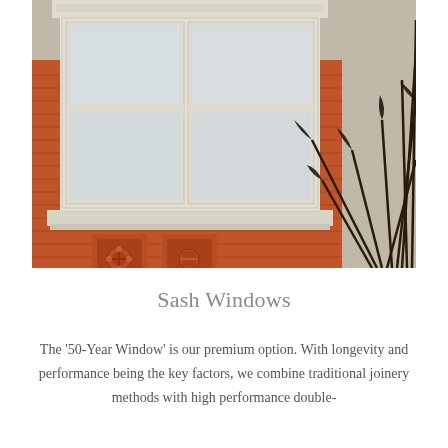[Figure (photo): Photograph of a Victorian-style red brick building facade with white-painted sash windows featuring decorative cornicing and mouldings, with ornamental terracotta panels below the window sill and a palm plant in the foreground right.]
Sash Windows
The '50-Year Window' is our premium option. With longevity and performance being the key factors, we combine traditional joinery methods with high performance double-